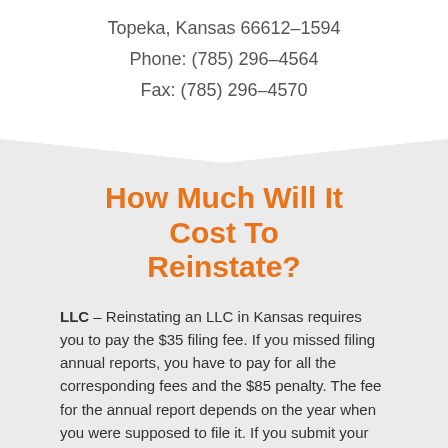Topeka, Kansas 66612–1594
Phone: (785) 296–4564
Fax: (785) 296–4570
How Much Will It Cost To Reinstate?
LLC – Reinstating an LLC in Kansas requires you to pay the $35 filing fee. If you missed filing annual reports, you have to pay for all the corresponding fees and the $85 penalty. The fee for the annual report depends on the year when you were supposed to file it. If you submit your documents you have to add another $20.